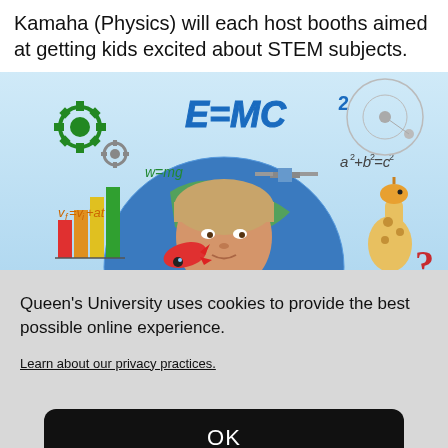Kamaha (Physics) will each host booths aimed at getting kids excited about STEM subjects.
[Figure (illustration): STEM-themed illustration showing a child looking up surrounded by science/math symbols: E=MC², w=mg, a²+b²=c², vf=vi+at, a globe, a giraffe, colorful bar chart, gears, and a toy rocket.]
Queen's University uses cookies to provide the best possible online experience.
Learn about our privacy practices.
OK